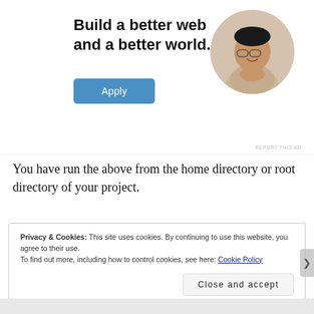[Figure (infographic): Advertisement banner with bold headline 'Build a better web and a better world.', a blue Apply button, and a circular photo of a smiling man resting his chin on his hand. 'REPORT THIS AD' text in small gray letters at bottom right.]
You have run the above from the home directory or root directory of your project.
Privacy & Cookies: This site uses cookies. By continuing to use this website, you agree to their use.
To find out more, including how to control cookies, see here: Cookie Policy
Close and accept